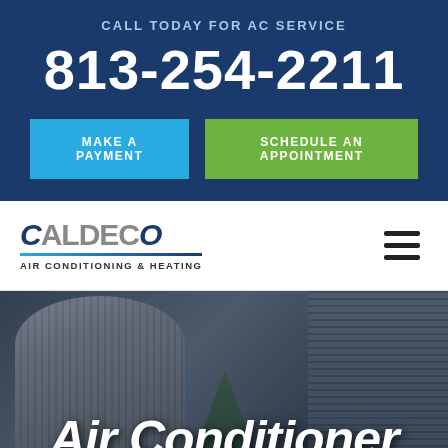CALL TODAY FOR AC SERVICE
813-254-2211
MAKE A PAYMENT
SCHEDULE AN APPOINTMENT
[Figure (logo): Caldeco Air Conditioning & Heating company logo with stylized text and blue underline]
[Figure (photo): Outdoor AC unit / HVAC equipment photograph used as hero background image]
Air Conditioner